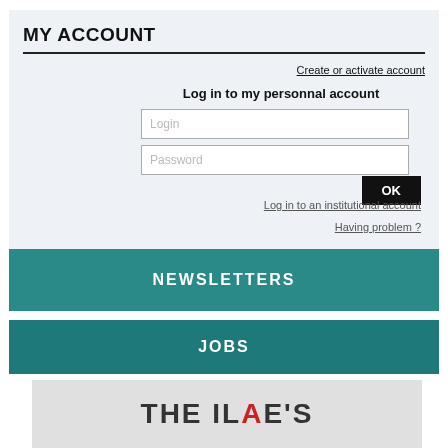MY ACCOUNT
Create or activate account
Log in to my personnal account
Login
Password
OK
Log in to an institutional account
Having problem ?
NEWSLETTERS
JOBS
[Figure (logo): THE ILAE'S logo text on grey background]